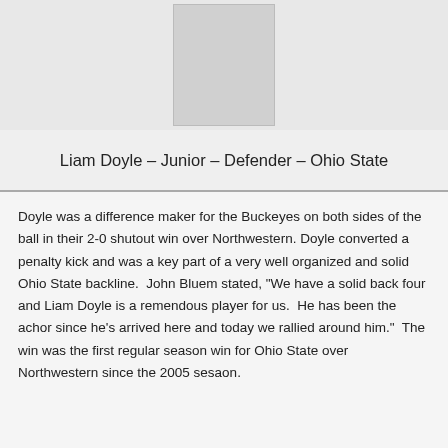[Figure (photo): Placeholder photo box for Liam Doyle]
Liam Doyle – Junior – Defender – Ohio State
Doyle was a difference maker for the Buckeyes on both sides of the ball in their 2-0 shutout win over Northwestern. Doyle converted a penalty kick and was a key part of a very well organized and solid Ohio State backline.  John Bluem stated, "We have a solid back four and Liam Doyle is a remendous player for us.  He has been the achor since he's arrived here and today we rallied around him."  The win was the first regular season win for Ohio State over Northwestern since the 2005 sesaon.